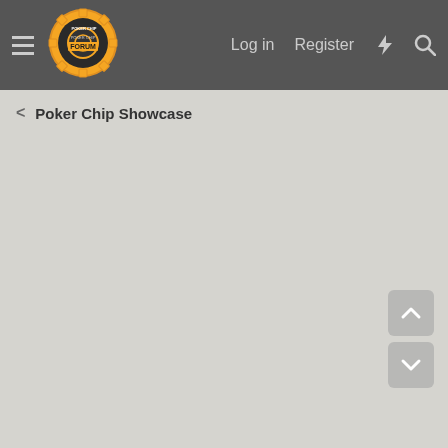Poker Chip Forum — Log in | Register
Poker Chip Showcase